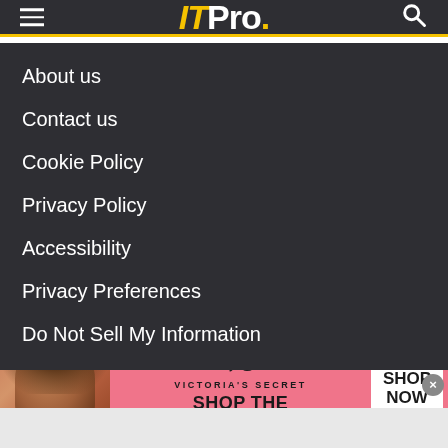ITPro.
About us
Contact us
Cookie Policy
Privacy Policy
Accessibility
Privacy Preferences
Do Not Sell My Information
[Figure (illustration): Victoria's Secret advertisement banner with model photo on pink background, VS logo, text SHOP THE COLLECTION, and a SHOP NOW button]